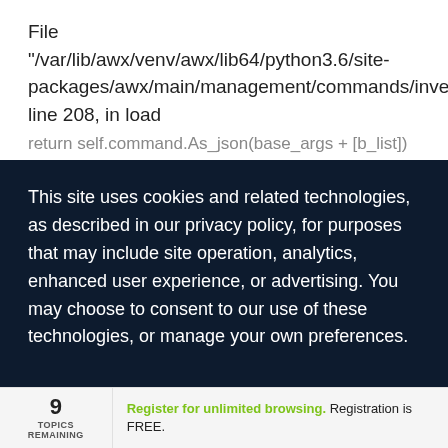File "/var/lib/awx/venv/awx/lib64/python3.6/site-packages/awx/main/management/commands/inventory_import.py", line 208, in load
This site uses cookies and related technologies, as described in our privacy policy, for purposes that may include site operation, analytics, enhanced user experience, or advertising. You may choose to consent to our use of these technologies, or manage your own preferences.
MANAGE SETTINGS
ACCEPT
9
TOPICS
REMAINING
Register for unlimited browsing. Registration is FREE.